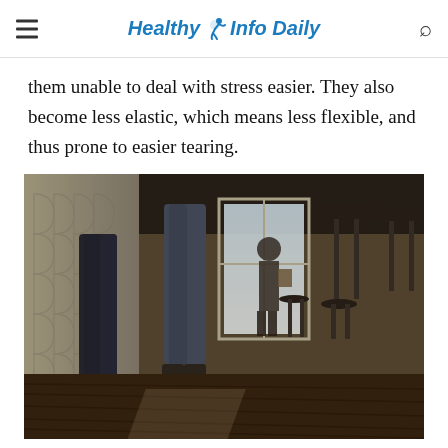Healthy Info Daily
them unable to deal with stress easier. They also become less elastic, which means less flexible, and thus prone to easier tearing.
[Figure (photo): Low-angle photo inside a café or bar showing people's legs standing on a wooden floor, with bar stools and tables on the right side, a decorative tile wall on the left, and a person walking in the background near a bright window.]